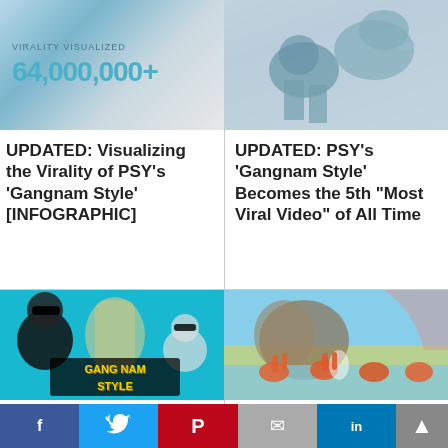[Figure (screenshot): Infographic thumbnail showing '64,000,000+' views count with teal/blue styling and 'VIRALITY VISUALIZED' label]
[Figure (photo): Black and white photo of PSY with horse in gangnam style]
UPDATED: Visualizing the Virality of PSY's 'Gangnam Style' [INFOGRAPHIC]
UPDATED: PSY's 'Gangnam Style' Becomes the 5th "Most Viral Video" of All Time
[Figure (screenshot): Gang Nam Style meme image with PSY, blonde girl, and cartoon PSY with yellow text Gang Nam Style]
[Figure (photo): People doing Gangnam Style dance in a pool with water park slide in background]
'Gangnam Style' Mania: 10 More
City Fires 14 Lifeguards for 'Gangnam Style' YouTube Parody